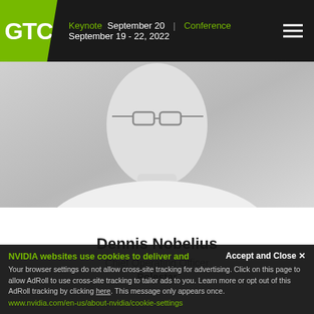GTC | Keynote September 20 | Conference | September 19 - 22, 2022
[Figure (photo): Headshot photo of Dennis Nobelius, a middle-aged man with glasses wearing a white collared shirt, shown from shoulders up against a light gray background]
Dennis Nobelius
Chief Operating Officer
Polestar
NVIDIA websites use cookies to deliver and
Accept and Close ✕
Your browser settings do not allow cross-site tracking for advertising. Click on this page to allow AdRoll to use cross-site tracking to tailor ads to you. Learn more or opt out of this AdRoll tracking by clicking here. This message only appears once.
www.nvidia.com/en-us/about-nvidia/cookie-settings